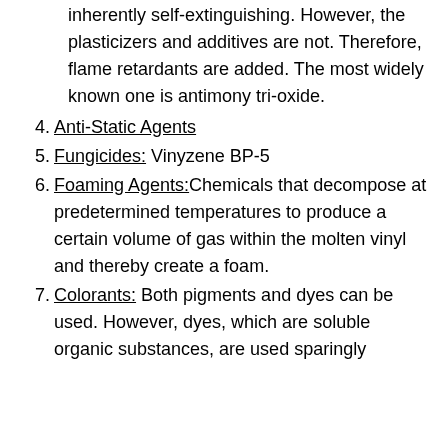3. Flame Retardants: PVC is inherently self-extinguishing. However, the plasticizers and additives are not. Therefore, flame retardants are added. The most widely known one is antimony tri-oxide.
4. Anti-Static Agents
5. Fungicides: Vinyzene BP-5
6. Foaming Agents: Chemicals that decompose at predetermined temperatures to produce a certain volume of gas within the molten vinyl and thereby create a foam.
7. Colorants: Both pigments and dyes can be used. However, dyes, which are soluble organic substances, are used sparingly